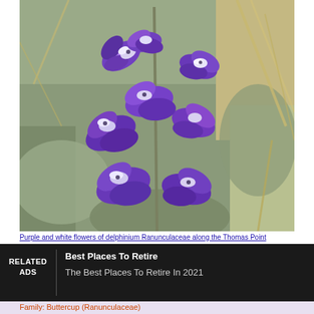[Figure (photo): Close-up photograph of purple and white delphinium flowers on a stem, with dried grass and silvery-green foliage in the background.]
Purple and white flowers of delphinium Ranunculaceae along the Thomas Point
RELATED ADS
Best Places To Retire
The Best Places To Retire In 2021
Family: Buttercup (Ranunculaceae)